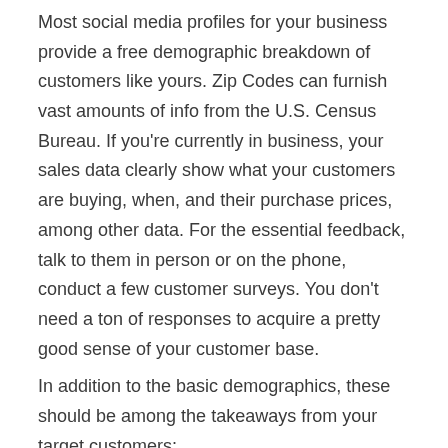Most social media profiles for your business provide a free demographic breakdown of customers like yours. Zip Codes can furnish vast amounts of info from the U.S. Census Bureau. If you're currently in business, your sales data clearly show what your customers are buying, when, and their purchase prices, among other data. For the essential feedback, talk to them in person or on the phone, conduct a few customer surveys. You don't need a ton of responses to acquire a pretty good sense of your customer base.
In addition to the basic demographics, these should be among the takeaways from your target customers:
Is the distance to your location a problem? Parking? Public Transportation? Do, or can you, deliver?
How do they make a living? Knowing what your primary customers do can help you adjust your hours to fit their needs or devise special offers. Having an idea of the money they can or are willing to spend can help with your pricing. With this